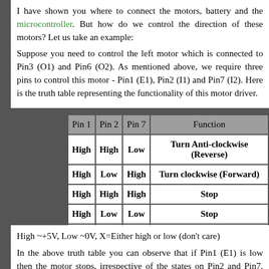I have shown you where to connect the motors, battery and the microcontroller. But how do we control the direction of these motors? Let us take an example:
Suppose you need to control the left motor which is connected to Pin3 (O1) and Pin6 (O2). As mentioned above, we require three pins to control this motor - Pin1 (E1), Pin2 (I1) and Pin7 (I2). Here is the truth table representing the functionality of this motor driver.
| Pin 1 | Pin 2 | Pin 7 | Function |
| --- | --- | --- | --- |
| High | High | Low | Turn Anti-clockwise (Reverse) |
| High | Low | High | Turn clockwise (Forward) |
| High | High | High | Stop |
| High | Low | Low | Stop |
| Low | X | X | Stop |
High ~+5V, Low ~0V, X=Either high or low (don't care)
In the above truth table you can observe that if Pin1 (E1) is low then the motor stops, irrespective of the states on Pin2 and Pin7. Hence it is essential to hold E1 high for the driver to function, or simply connect enable pins to positive 5 volts.
With Pin1 high, if Pin2 is set high and Pin7 is pulled low, then current flows from Pin2 to Pin7 driving the motor in anti-clockwise